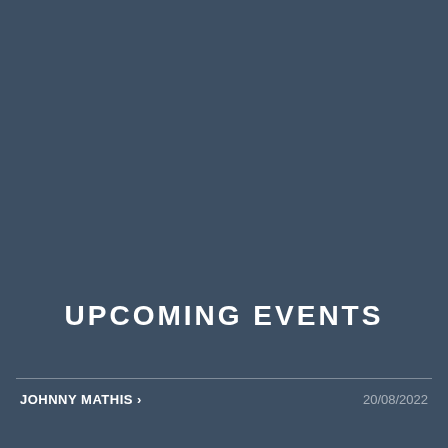UPCOMING EVENTS
JOHNNY MATHIS ›    20/08/2022